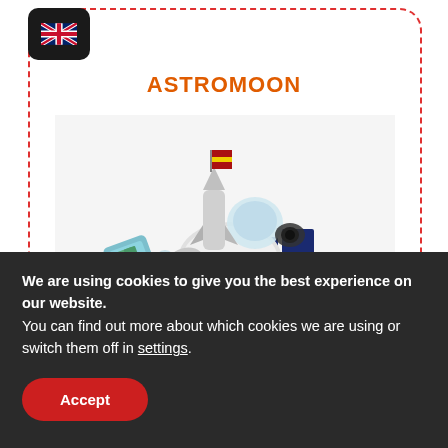[Figure (screenshot): UK flag icon button in dark rounded rectangle]
ASTROMOON
[Figure (illustration): 3D illustration of a space robot/rover with Spanish flag, solar panels, and astronaut figure on a white background]
Colegio San Antonio de Padua
We are using cookies to give you the best experience on our website.
You can find out more about which cookies we are using or switch them off in settings.
Accept